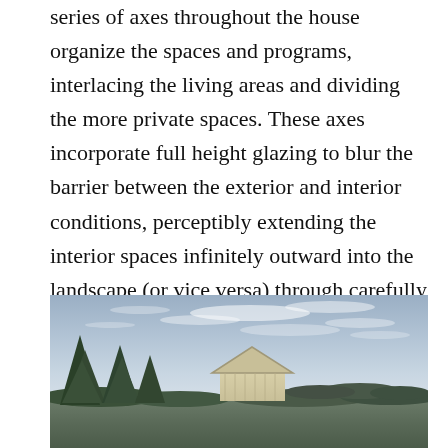series of axes throughout the house organize the spaces and programs, interlacing the living areas and dividing the more private spaces. These axes incorporate full height glazing to blur the barrier between the exterior and interior conditions, perceptibly extending the interior spaces infinitely outward into the landscape (or vice versa) through carefully framed views.
[Figure (photo): Exterior photograph of a house with a triangular roof gable, surrounded by trees including evergreens on the left, set against a partly cloudy blue-grey sky with open landscape.]